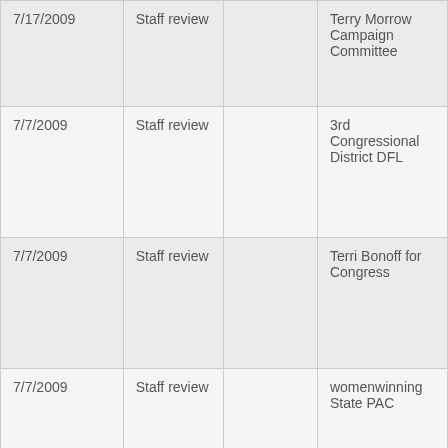| Date | Type |  | Committee/Organization |
| --- | --- | --- | --- |
| 7/17/2009 | Staff review |  | Terry Morrow Campaign Committee |
| 7/7/2009 | Staff review |  | 3rd Congressional District DFL |
| 7/7/2009 | Staff review |  | Terri Bonoff for Congress |
| 7/7/2009 | Staff review |  | womenwinning State PAC |